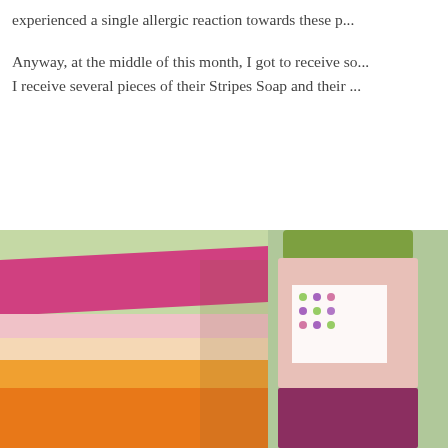experienced a single allergic reaction towards these p...
Anyway, at the middle of this month, I got to receive so... I receive several pieces of their Stripes Soap and their ...
[Figure (photo): Photo of striped soap bars with pink, white, peach, and orange horizontal stripes on a green background, alongside a cylindrical product container with a green cap, polka-dot label, pink body, and purple bottom section.]